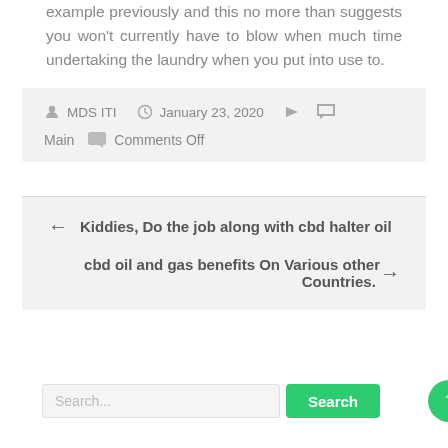example previously and this no more than suggests you won't currently have to blow when much time undertaking the laundry when you put into use to.
MDS ITI   January 23, 2020   Main   Comments Off
← Kiddies, Do the job along with cbd halter oil
cbd oil and gas benefits On Various other Countries. →